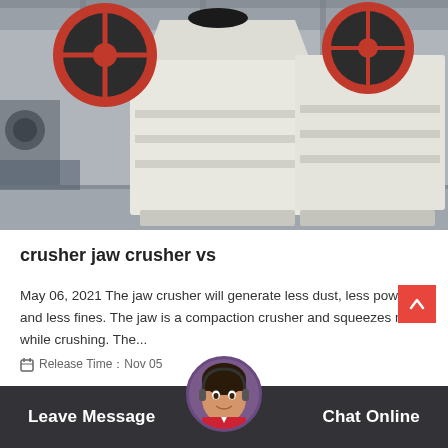[Figure (photo): Two large white industrial jaw crushers with red and black flywheels in a factory/warehouse setting]
crusher jaw crusher vs
May 06, 2021 The jaw crusher will generate less dust, less powder and less fines. The jaw is a compaction crusher and squeezes material while crushing. The...
Release Time: Nov 05